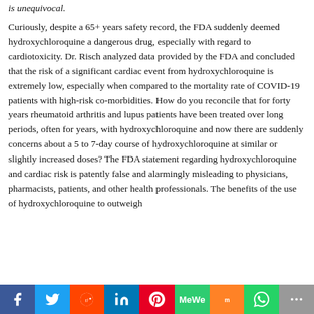is unequivocal.
Curiously, despite a 65+ years safety record, the FDA suddenly deemed hydroxychloroquine a dangerous drug, especially with regard to cardiotoxicity. Dr. Risch analyzed data provided by the FDA and concluded that the risk of a significant cardiac event from hydroxychloroquine is extremely low, especially when compared to the mortality rate of COVID-19 patients with high-risk co-morbidities. How do you reconcile that for forty years rheumatoid arthritis and lupus patients have been treated over long periods, often for years, with hydroxychloroquine and now there are suddenly concerns about a 5 to 7-day course of hydroxychloroquine at similar or slightly increased doses? The FDA statement regarding hydroxychloroquine and cardiac risk is patently false and alarmingly misleading to physicians, pharmacists, patients, and other health professionals. The benefits of the use of hydroxychloroquine to outweigh...
[Figure (other): Social media sharing bar with buttons for Facebook, Twitter, Reddit, LinkedIn, Pinterest, MeWe, Mix, WhatsApp, and More]